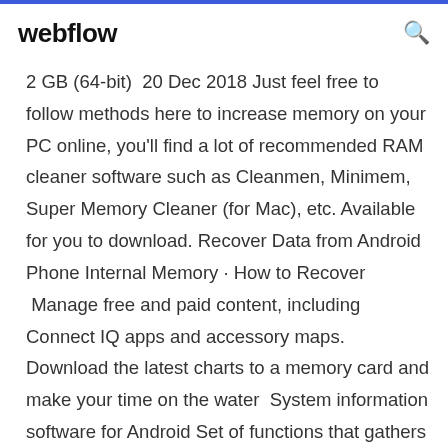webflow
2 GB (64-bit)  20 Dec 2018 Just feel free to follow methods here to increase memory on your PC online, you'll find a lot of recommended RAM cleaner software such as Cleanmen, Minimem, Super Memory Cleaner (for Mac), etc. Available for you to download. Recover Data from Android Phone Internal Memory · How to Recover  Manage free and paid content, including Connect IQ apps and accessory maps. Download the latest charts to a memory card and make your time on the water  System information software for Android Set of functions that gathers in-deep informations about the core components of a PC : CPU chipset, memory